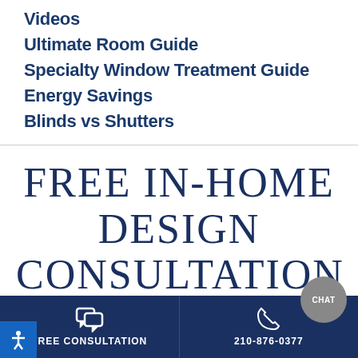Videos
Ultimate Room Guide
Specialty Window Treatment Guide
Energy Savings
Blinds vs Shutters
FREE IN-HOME DESIGN CONSULTATION
Schedule your free in-home or virtual des…
FREE CONSULTATION   210-876-0377   CHAT